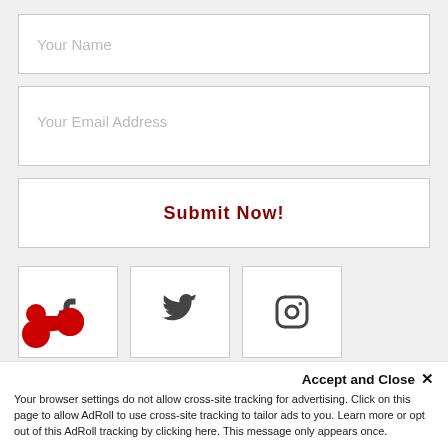Your Name
Your Email Address
Submit Now!
[Figure (other): Three social media icon buttons: Facebook (f), Twitter (bird), Instagram (camera circle), each in a white bordered box]
[Figure (logo): AdRoll logo: red connected dots/circles icon]
Accept and Close ✕
Your browser settings do not allow cross-site tracking for advertising. Click on this page to allow AdRoll to use cross-site tracking to tailor ads to you. Learn more or opt out of this AdRoll tracking by clicking here. This message only appears once.